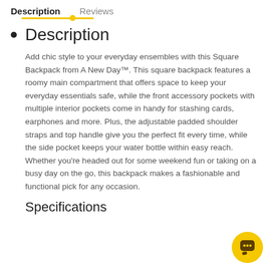Description | Reviews
Description
Add chic style to your everyday ensembles with this Square Backpack from A New Day™. This square backpack features a roomy main compartment that offers space to keep your everyday essentials safe, while the front accessory pockets with multiple interior pockets come in handy for stashing cards, earphones and more. Plus, the adjustable padded shoulder straps and top handle give you the perfect fit every time, while the side pocket keeps your water bottle within easy reach. Whether you're headed out for some weekend fun or taking on a busy day on the go, this backpack makes a fashionable and functional pick for any occasion.
Specifications